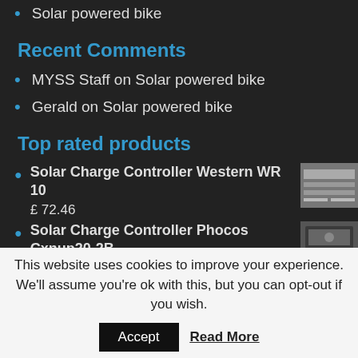Solar powered bike
Recent Comments
MYSS Staff on Solar powered bike
Gerald on Solar powered bike
Top rated products
Solar Charge Controller Western WR 10
£ 72.46
Solar Charge Controller Phocos Cxnup20-2B
£ 87.20
This website uses cookies to improve your experience. We'll assume you're ok with this, but you can opt-out if you wish.
Accept  Read More